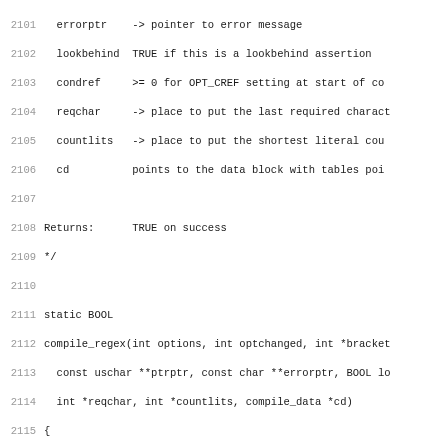[Figure (screenshot): Source code listing in monospace font showing C code for compile_regex function, with line numbers 2101-2132. Lines show parameter comments (errorptr, lookbehind, condref, reqchar, countlits, cd), a Returns comment, static BOOL function declaration, and local variable declarations followed by initialization code and a conditional check.]